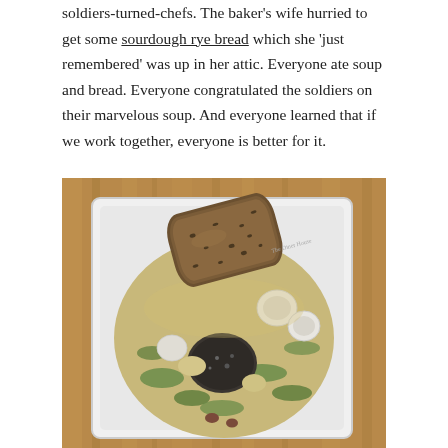soldiers-turned-chefs. The baker's wife hurried to get some sourdough rye bread which she 'just remembered' was up in her attic. Everyone ate soup and bread. Everyone congratulated the soldiers on their marvelous soup. And everyone learned that if we work together, everyone is better for it.
[Figure (photo): Overhead photo of a white square bowl containing vegetable soup with pearl onions, greens, and chunks of meat or stone, topped with a thick slice of seeded rye bread, served on a wooden table.]